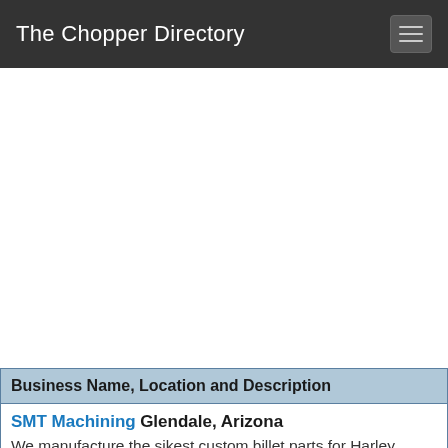The Chopper Directory
[Figure (other): Advertisement / blank white area below the navigation header]
| Business Name, Location and Description |
| --- |
| SMT Machining Glendale, Arizona
We manufacture the sikest custom billet parts for Harley Davidson baggers with our Wicked 30… more |